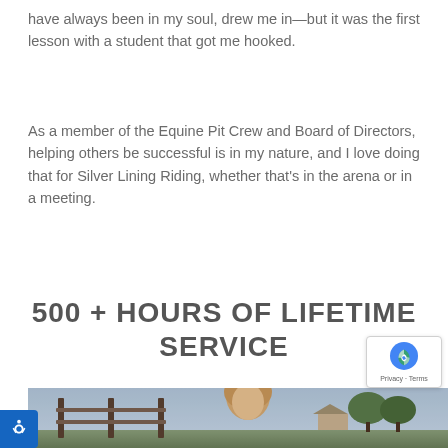have always been in my soul, drew me in—but it was the first lesson with a student that got me hooked.
As a member of the Equine Pit Crew and Board of Directors, helping others be successful is in my nature, and I love doing that for Silver Lining Riding, whether that's in the arena or in a meeting.
500 + HOURS OF LIFETIME SERVICE
[Figure (photo): Outdoor photo of a person with blonde hair, partially visible, with wooden fence posts and trees/houses in the background.]